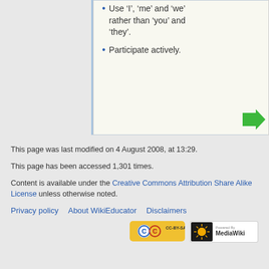Use 'I', 'me' and 'we' rather than 'you' and 'they'.
Participate actively.
[Figure (other): Green right-pointing arrow navigation button]
This page was last modified on 4 August 2008, at 13:29.
This page has been accessed 1,301 times.
Content is available under the Creative Commons Attribution Share Alike License unless otherwise noted.
Privacy policy   About WikiEducator   Disclaimers